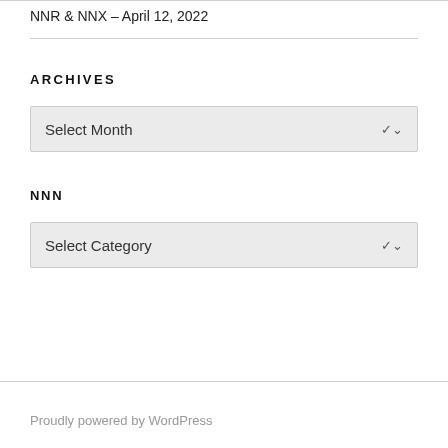NNR & NNX – April 12, 2022
ARCHIVES
Select Month
NNN
Select Category
Proudly powered by WordPress